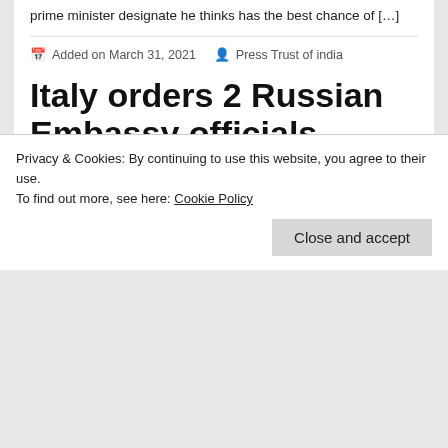prime minister designate he thinks has the best chance of […]
Added on March 31, 2021   Press Trust of india
Italy orders 2 Russian Embassy officials expelled for spying
[Figure (photo): Partial photo showing the Colosseum silhouette against a bright blue sky with a glowing light source, partially cropped at top and bottom]
Privacy & Cookies: By continuing to use this website, you agree to their use.
To find out more, see here: Cookie Policy
Close and accept